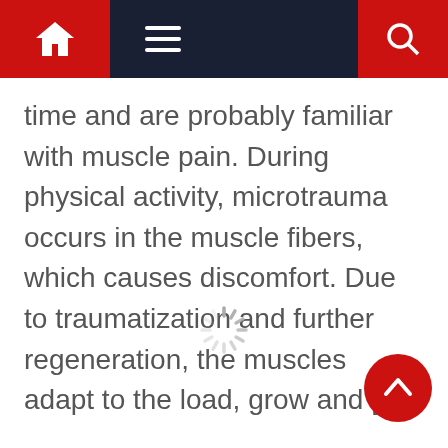[Navigation bar with home, menu, and search icons]
time and are probably familiar with muscle pain. During physical activity, microtrauma occurs in the muscle fibers, which causes discomfort. Due to traumatization and further regeneration, the muscles adapt to the load, grow and [...]
[Figure (other): Loading spinner animation indicator]
[Figure (other): Back to top circular red button with upward chevron arrow]